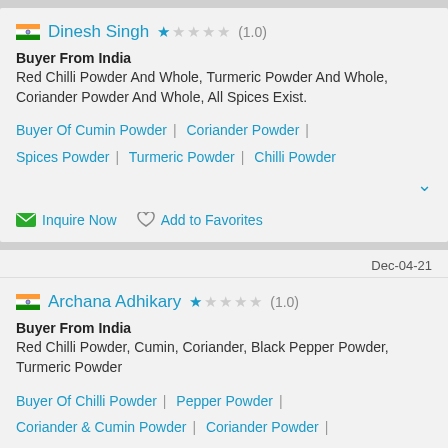Dinesh Singh ★☆☆☆☆ (1.0)
Buyer From India
Red Chilli Powder And Whole, Turmeric Powder And Whole, Coriander Powder And Whole, All Spices Exist.
Buyer Of Cumin Powder | Coriander Powder | Spices Powder | Turmeric Powder | Chilli Powder
Inquire Now   Add to Favorites
Dec-04-21
Archana Adhikary ★☆☆☆☆ (1.0)
Buyer From India
Red Chilli Powder, Cumin, Coriander, Black Pepper Powder, Turmeric Powder
Buyer Of Chilli Powder | Pepper Powder |